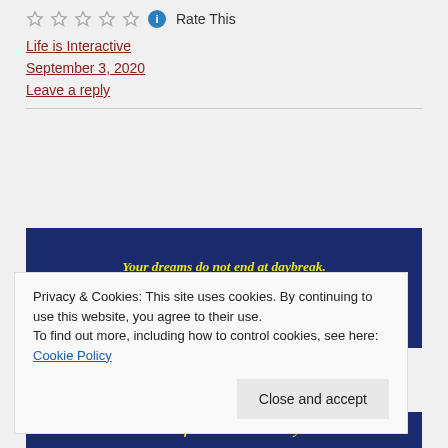Rate This
Life is Interactive
September 3, 2020
Leave a reply
[Figure (illustration): Dark navy blue banner with yellow italic bold script text reading: Your dreams do not end at daybreak. Daybreak is when they begin. Daybreak is when you make]
Privacy & Cookies: This site uses cookies. By continuing to use this website, you agree to their use.
To find out more, including how to control cookies, see here: Cookie Policy
Close and accept
[Figure (illustration): Dark navy blue banner with yellow italic bold script text reading: and define their own destiny]